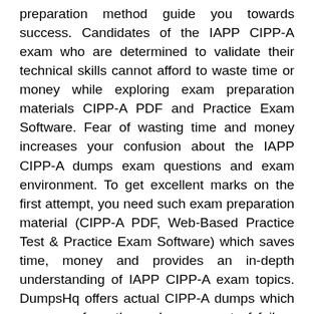preparation method guide you towards success. Candidates of the IAPP CIPP-A exam who are determined to validate their technical skills cannot afford to waste time or money while exploring exam preparation materials CIPP-A PDF and Practice Exam Software. Fear of wasting time and money increases your confusion about the IAPP CIPP-A dumps exam questions and exam environment. To get excellent marks on the first attempt, you need such exam preparation material (CIPP-A PDF, Web-Based Practice Test & Practice Exam Software) which saves time, money and provides an in-depth understanding of IAPP CIPP-A exam topics. DumpsHq offers actual CIPP-A dumps which save you from the embarrassment of failure and strengthen your abilities to pass the IAPP CIPP-A exam on the first attempt. DumpsHQ exam dumps are the best way to save you from the loss of time and money.